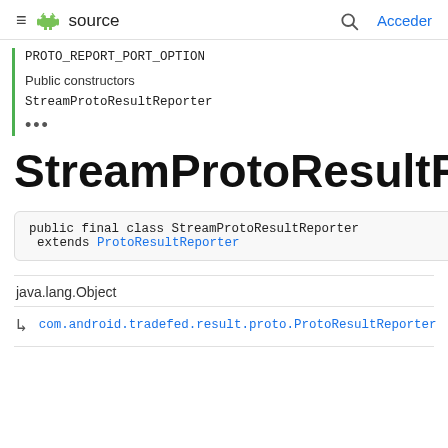≡  source  🔍  Acceder
PROTO_REPORT_PORT_OPTION
Public constructors
StreamProtoResultReporter
•••
StreamProtoResultRepo
java.lang.Object
↳  com.android.tradefed.result.proto.ProtoResultReporter